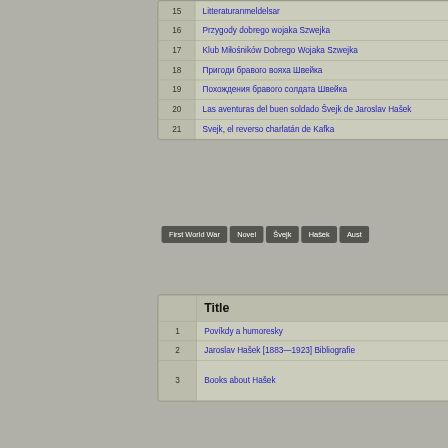|  | Title |
| --- | --- |
| 15 | Litteraturanmeldelsar |
| 16 | Przygody dobrego wojaka Szwejka |
| 17 | Klub Miłośników Dobrego Wojaka Szwejka |
| 18 | Пригоди бравого вояха Швейка |
| 19 | Похождения бравого солдата Швейка |
| 20 | Las aventuras del buen soldado Švejk de Jaroslav Hašek |
| 21 | Svejk, el reverso charlatán de Kafka |
First World War | Novel | Švejk | Hašek | Aust...
|  | Title |
| --- | --- |
| 1 | Povíkdy a humoresky |
| 2 | Jaroslav Hašek [1883—1923] Bibliografie |
| 3 | Books about Hašek |